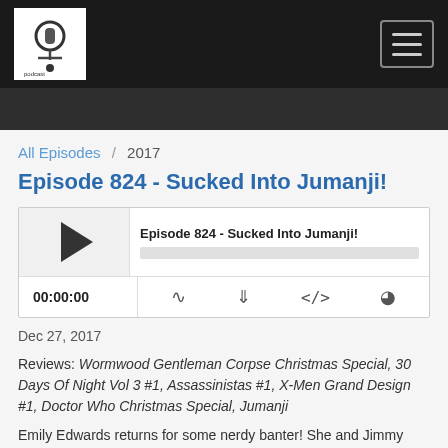[Figure (screenshot): Navigation bar with podcast logo on left and hamburger menu button on right, dark background]
All Episodes / 2017
Episode 824 - Sucked Into Jumanji!
[Figure (screenshot): Audio player widget showing Episode 824 - Sucked Into Jumanji! with play button, progress bar, time 00:00:00, and control icons]
Dec 27, 2017
Reviews: Wormwood Gentleman Corpse Christmas Special, 30 Days Of Night Vol 3 #1, Assassinistas #1, X-Men Grand Design #1, Doctor Who Christmas Special, Jumanji
Emily Edwards returns for some nerdy banter! She and Jimmy have an impromptu chat/review about Star Wars: The Last Jedi and hope everyone had a great